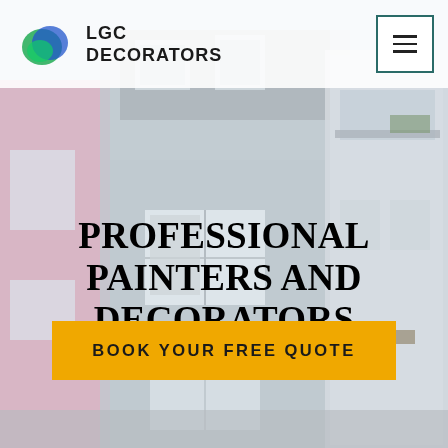[Figure (photo): Background photo of colorful painted terraced houses on a London street, including pink, grey, and white facades with sash windows and dormer windows.]
LGC DECORATORS
PROFESSIONAL PAINTERS AND DECORATORS WOODFORD
BOOK YOUR FREE QUOTE